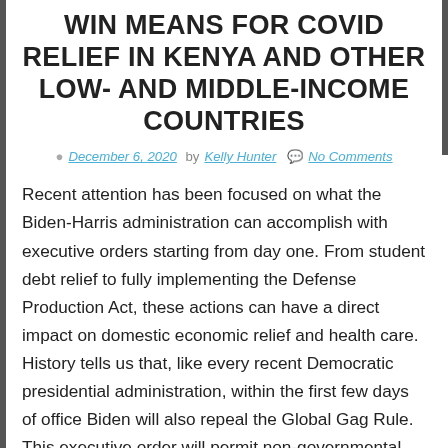WIN MEANS FOR COVID RELIEF IN KENYA AND OTHER LOW- AND MIDDLE-INCOME COUNTRIES
December 6, 2020  by Kelly Hunter   No Comments
Recent attention has been focused on what the Biden-Harris administration can accomplish with executive orders starting from day one. From student debt relief to fully implementing the Defense Production Act, these actions can have a direct impact on domestic economic relief and health care. History tells us that, like every recent Democratic presidential administration, within the first few days of office Biden will also repeal the Global Gag Rule. This executive order will permit non-governmental organizations (NGOs) receiving